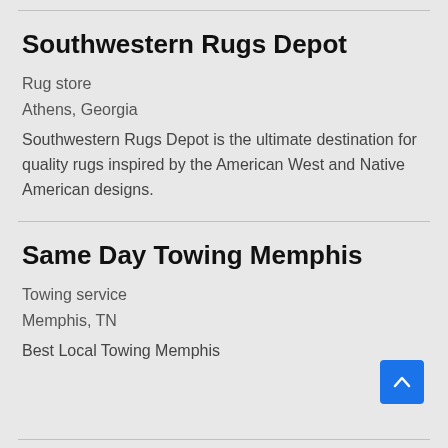Southwestern Rugs Depot
Rug store
Athens, Georgia
Southwestern Rugs Depot is the ultimate destination for quality rugs inspired by the American West and Native American designs.
Same Day Towing Memphis
Towing service
Memphis, TN
Best Local Towing Memphis